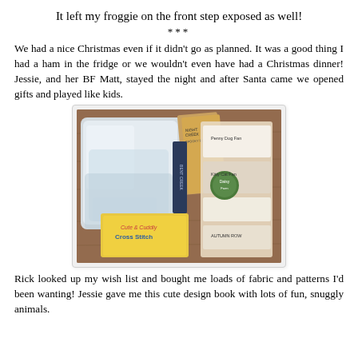It left my froggie on the front step exposed as well!
***
We had a nice Christmas even if it didn't go as planned. It was a good thing I had a ham in the fridge or we wouldn't even have had a Christmas dinner! Jessie, and her BF Matt, stayed the night and after Santa came we opened gifts and played like kids.
[Figure (photo): A photograph of craft supplies and gifts on a wooden surface, including bags of fabric, cross stitch books including 'Cute & Cuddly Cross Stitch', and various pattern packets labeled with items like 'Spooky Row', 'Bent Creek', 'Autumn Row', and others.]
Rick looked up my wish list and bought me loads of fabric and patterns I'd been wanting! Jessie gave me this cute design book with lots of fun, snuggly animals.